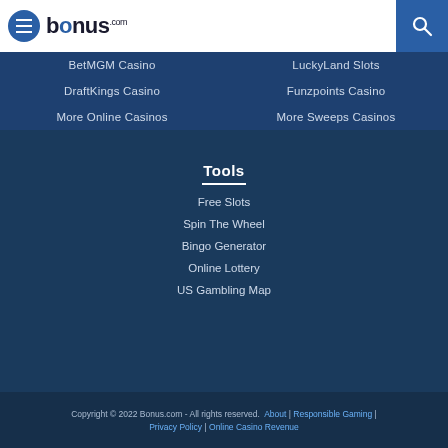bonus.com
BetMGM Casino
LuckyLand Slots
DraftKings Casino
Funzpoints Casino
More Online Casinos
More Sweeps Casinos
Tools
Free Slots
Spin The Wheel
Bingo Generator
Online Lottery
US Gambling Map
Copyright © 2022 Bonus.com - All rights reserved. About | Responsible Gaming | Privacy Policy | Online Casino Revenue